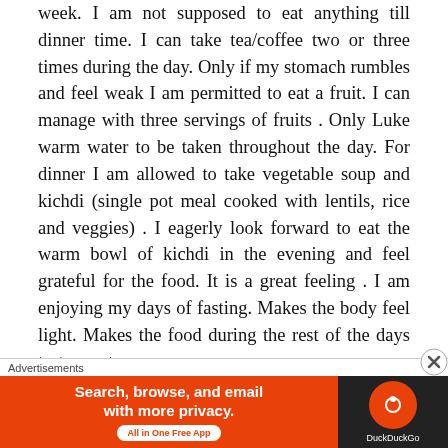week. I am not supposed to eat anything till dinner time. I can take tea/coffee two or three times during the day. Only if my stomach rumbles and feel weak I am permitted to eat a fruit. I can manage with three servings of fruits . Only Luke warm water to be taken throughout the day. For dinner I am allowed to take vegetable soup and kichdi (single pot meal cooked with lentils, rice and veggies) . I eagerly look forward to eat the warm bowl of kichdi in the evening and feel grateful for the food. It is a great feeling . I am enjoying my days of fasting. Makes the body feel light. Makes the food during the rest of the days taste great.

I also did my own research on the Internet on the effect of fasting and read that Fasting makes the cells
[Figure (other): DuckDuckGo advertisement banner: 'Search, browse, and email with more privacy. All in One Free App' with DuckDuckGo logo on dark background, labeled 'Advertisements']